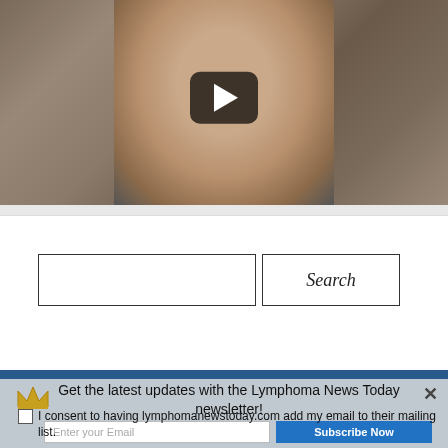[Figure (screenshot): Video thumbnail showing a person's face looking at the camera, with a dark play button overlay in the center. Background shows colorful fabric/clothing.]
[Figure (screenshot): Search bar UI with an empty text input field and a Search button with italic text.]
[Figure (screenshot): Newsletter subscription popup with crown icon, title 'Get the latest updates with the Lymphoma News Today newsletter!', email input, Subscribe Now button, consent checkbox and text.]